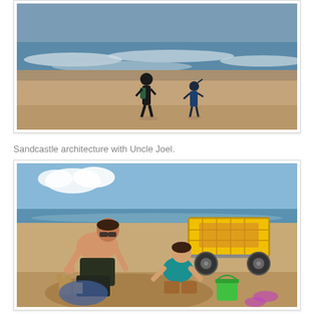[Figure (photo): Two people (adult and child) walking on a beach toward ocean waves, viewed from behind, silhouetted against the water and sand.]
Sandcastle architecture with Uncle Joel.
[Figure (photo): A shirtless man and a young child building sandcastles on a beach. A yellow beach cart with large wheels is in the background. A green bucket is nearby.]